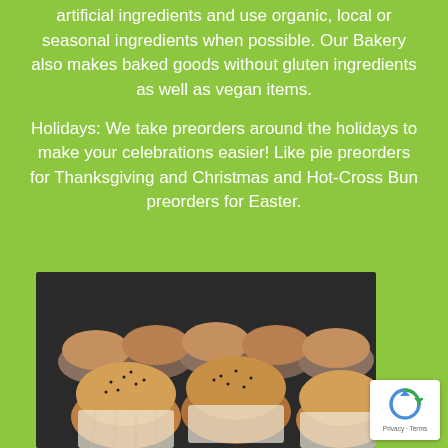artificial ingredients and use organic, local or seasonal ingredients when possible. Our Bakery also makes baked goods without gluten ingredients as well as vegan items.
Holidays: We take preorders around the holidays to make your celebrations easier! Like pie preorders for Thanksgiving and Christmas and Hot-Cross Bun preorders for Easter.
[Figure (photo): Close-up photo of rows of muffins with poppy seeds on top, displayed in paper liners on a baking tray]